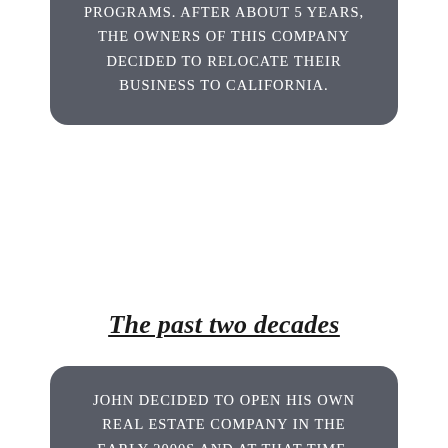programs. After about 5 years, the owners of this company decided to relocate their business to California.
The past two decades
John decided to open his own real estate company in the early 2000s and at that time, SOLD Real Estate Company was launched. After serving the South Denver metro area for nearly 15 years, his wife and he decided to move close to